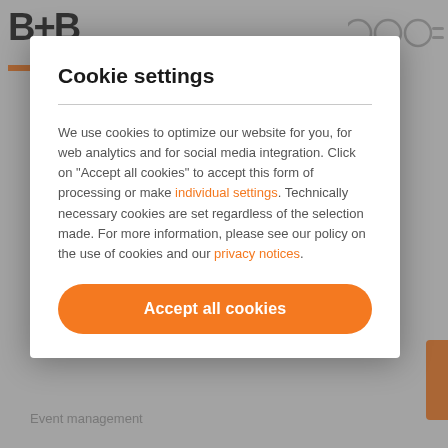[Figure (screenshot): B+P website background with logo and navigation icons, partially obscured by modal overlay]
Cookie settings
We use cookies to optimize our website for you, for web analytics and for social media integration. Click on "Accept all cookies" to accept this form of processing or make individual settings. Technically necessary cookies are set regardless of the selection made. For more information, please see our policy on the use of cookies and our privacy notices.
Accept all cookies